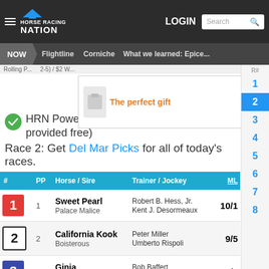Horse Racing Nation — LOGIN | Search
NOW | Flightline | Corniche | What we learned: Epice...
[Figure (screenshot): Advertisement banner: 'The perfect gift' with food bowl image, navigation arrows, and 35% OFF + FREE SHIPPING offer]
HRN Power Pick Selection. (races 1-3 provided free)
Race 2: Get Del Mar Picks for all of today's races.
| # | PP | Horse / Sire | Trainer / Jockey | ML |
| --- | --- | --- | --- | --- |
| 1 | 1 | Sweet Pearl / Palace Malice | Robert B. Hess, Jr. / Kent J. Desormeaux | 10/1 |
| 2 | 2 | California Kook / Boisterous | Peter Miller / Umberto Rispoli | 9/5 |
| 3 | 3 | Ginja / Quality Road | Bob Baffert / Mike E. Smith | 5/2 |
| 4 | 4 | Velvet Slippers | Bob Baffert | 5/2 |
R# sidebar: 1, 2 (active), 3, 4, 5, 6, 7, 8